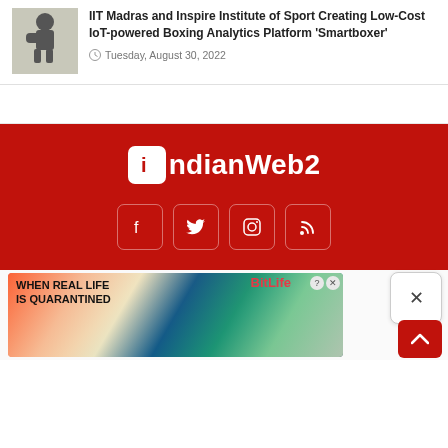IIT Madras and Inspire Institute of Sport Creating Low-Cost IoT-powered Boxing Analytics Platform 'Smartboxer'
Tuesday, August 30, 2022
[Figure (logo): IndianWeb2 logo in white on dark red background]
[Figure (infographic): Social media icons: Facebook, Twitter, Instagram, RSS feed on dark red background]
[Figure (photo): BitLife advertisement banner: 'When real life is quarantined' with colorful background]